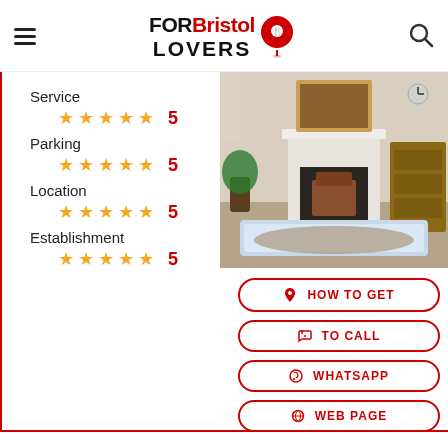FOR Bristol LOVERS
Service
★★★★★ 5
Parking
★★★★★ 5
Location
★★★★★ 5
Establishment
★★★★★ 5
[Figure (photo): Interior room with massage table, white fireplace, floral painting above mantle, wooden dresser, plants, and ornate rug on floor]
HOW TO GET
TO CALL
WHATSAPP
WEB PAGE